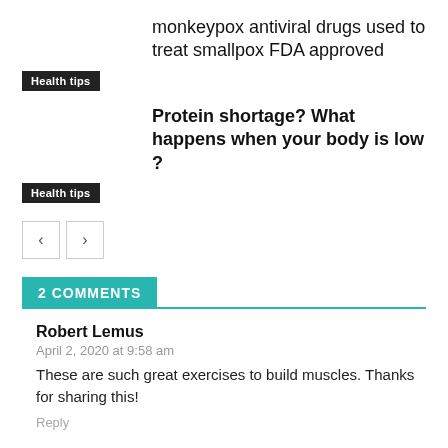monkeypox antiviral drugs used to treat smallpox FDA approved
Health tips
Protein shortage? What happens when your body is low ?
Health tips
2 COMMENTS
Robert Lemus
April 2, 2020 at 9:58 am
These are such great exercises to build muscles. Thanks for sharing this!
Reply